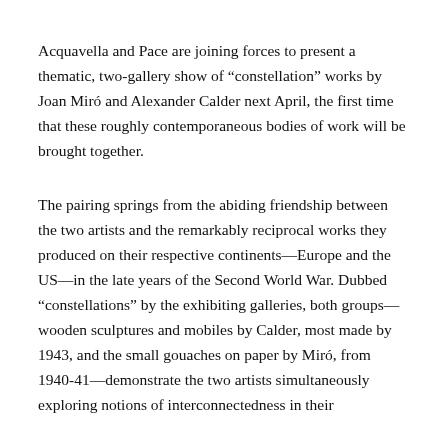Acquavella and Pace are joining forces to present a thematic, two-gallery show of “constellation” works by Joan Miró and Alexander Calder next April, the first time that these roughly contemporaneous bodies of work will be brought together.
The pairing springs from the abiding friendship between the two artists and the remarkably reciprocal works they produced on their respective continents—Europe and the US—in the late years of the Second World War. Dubbed “constellations” by the exhibiting galleries, both groups—wooden sculptures and mobiles by Calder, most made by 1943, and the small gouaches on paper by Miró, from 1940-41—demonstrate the two artists simultaneously exploring notions of interconnectedness in their